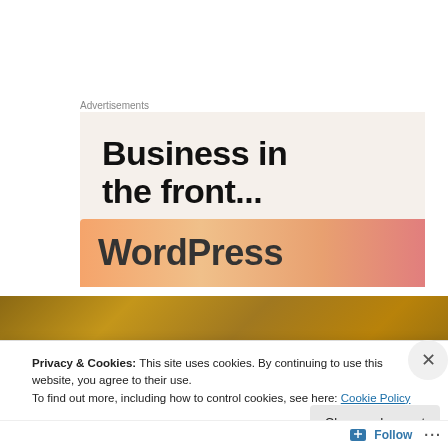Advertisements
[Figure (screenshot): WordPress advertisement banner showing 'Business in the front...' text above an orange gradient bar with 'WordPress' text]
[Figure (photo): Gold/brown textured background image, partially visible]
Privacy & Cookies: This site uses cookies. By continuing to use this website, you agree to their use.
To find out more, including how to control cookies, see here: Cookie Policy
Close and accept